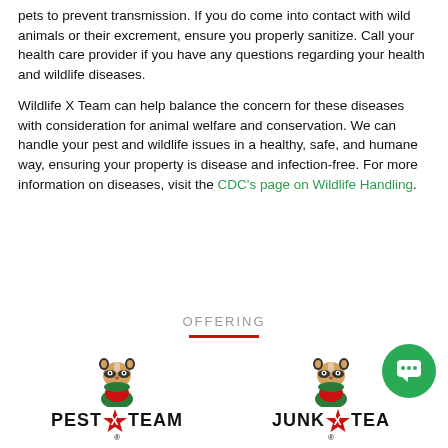pets to prevent transmission. If you do come into contact with wild animals or their excrement, ensure you properly sanitize. Call your health care provider if you have any questions regarding your health and wildlife diseases.
Wildlife X Team can help balance the concern for these diseases with consideration for animal welfare and conservation. We can handle your pest and wildlife issues in a healthy, safe, and humane way, ensuring your property is disease and infection-free. For more information on diseases, visit the CDC's page on Wildlife Handling.
OFFERING
[Figure (logo): Pest X Team logo with raccoon mascot wearing green and red costume]
[Figure (logo): Junk X Team logo with raccoon mascot wearing green and red costume]